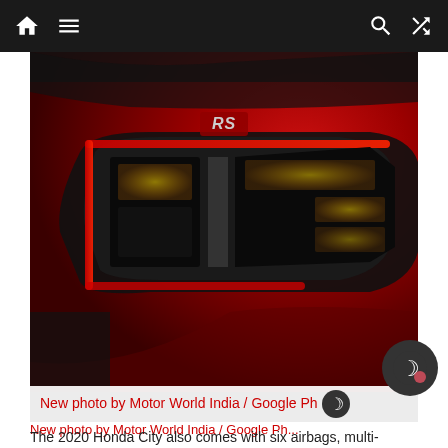Navigation bar with home, menu, search, and shuffle icons
[Figure (photo): Close-up photo of the rear tail light and RS badge of a red 2020 Honda City RS variant against a dark background]
New photo by Motor World India / Google Ph...
The 2020 Honda City also comes with six airbags, multi-